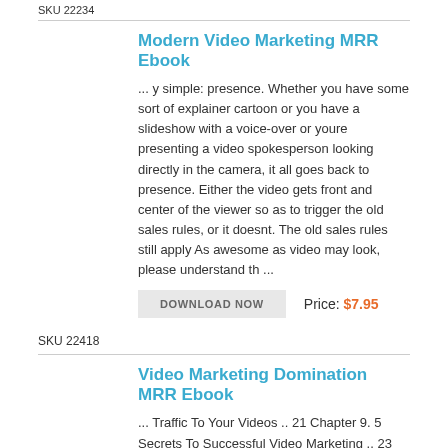SKU 22234
Modern Video Marketing MRR Ebook
... y simple: presence. Whether you have some sort of explainer cartoon or you have a slideshow with a voice-over or youre presenting a video spokesperson looking directly in the camera, it all goes back to presence. Either the video gets front and center of the viewer so as to trigger the old sales rules, or it doesnt. The old sales rules still apply As awesome as video may look, please understand th ...
DOWNLOAD NOW
Price: $7.95
SKU 22418
Video Marketing Domination MRR Ebook
... Traffic To Your Videos .. 21 Chapter 9. 5 Secrets To Successful Video Marketing .. 23 Chapter 10. Where Is Video Marketing Heading?